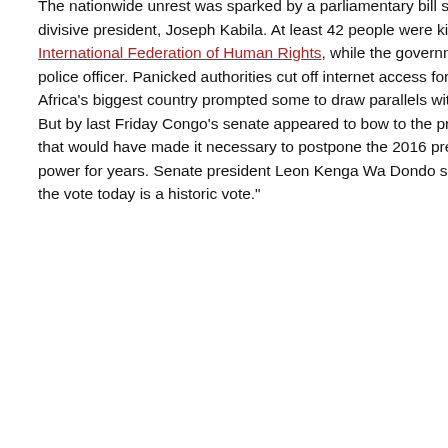The nationwide unrest was sparked by a parliamentary bill seen as a ploy to extend the tenure of the divisive president, Joseph Kabila. At least 42 people were killed by security forces, according to the International Federation of Human Rights, while the government put the death toll at just one protester and one police officer. Panicked authorities cut off internet access for two days. The week of unrest in Africa's biggest country prompted some to draw parallels with last year's revolution in Burkina Faso. But by last Friday Congo's senate appeared to bow to the protests, scrapping the controversial clause that would have made it necessary to postpone the 2016 presidential election and allow Kabila to keep power for years. Senate president Leon Kenga Wa Dondo said: "We have listened to the people and the vote today is a historic vote."
2014
Ebola stunts progress in Sierra Leone, Liberia
Ebola is having a devastating effect on development projects in Sierra Leone and Liberia, hurting the economies of the countries. "The impact on some activities have been simply catastrophic," said Scott Falconer, CEO of Planting Promise, a Sierra Leone charity. Reuters (12/30), The Times (subscription model) (12/30), The Guardian (London) (12/31)
28 December
Nigeria's ailing economy feels effects of terror and oil prices
Nigeria is being hammered on two fronts as it heads towards general elections.